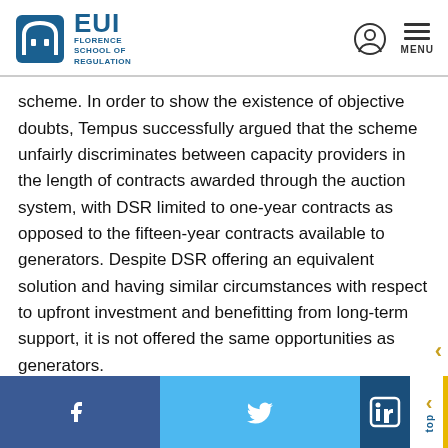EUI Florence School of Regulation
scheme. In order to show the existence of objective doubts, Tempus successfully argued that the scheme unfairly discriminates between capacity providers in the length of contracts awarded through the auction system, with DSR limited to one-year contracts as opposed to the fifteen-year contracts available to generators. Despite DSR offering an equivalent solution and having similar circumstances with respect to upfront investment and benefitting from long-term support, it is not offered the same opportunities as generators.
The Next Steps
Social media links: Facebook, Twitter, LinkedIn. Top navigation.